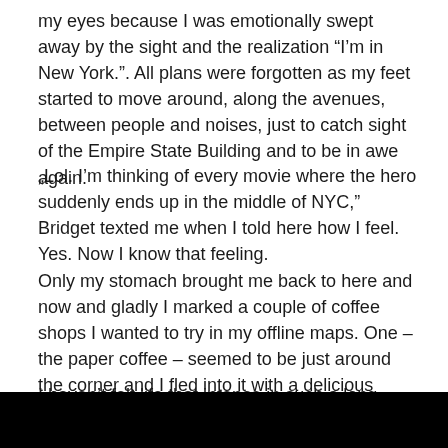my eyes because I was emotionally swept away by the sight and the realization “I’m in New York.”. All plans were forgotten as my feet started to move around, along the avenues, between people and noises, just to catch sight of the Empire State Building and to be in awe again.
„Lol. I’m thinking of every movie where the hero suddenly ends up in the middle of NYC,” Bridget texted me when I told here how I feel. Yes. Now I know that feeling.
Only my stomach brought me back to here and now and gladly I marked a couple of coffee shops I wanted to try in my offline maps. One – the paper coffee – seemed to be just around the corner and I fled into it with a delicious coffee and a most friendly coffee crew. “Welcome to NYC!”
I haven’t felt life that intense in such a long time.
[Figure (photo): Black rectangle at the bottom of the page, appears to be the top of a photo]